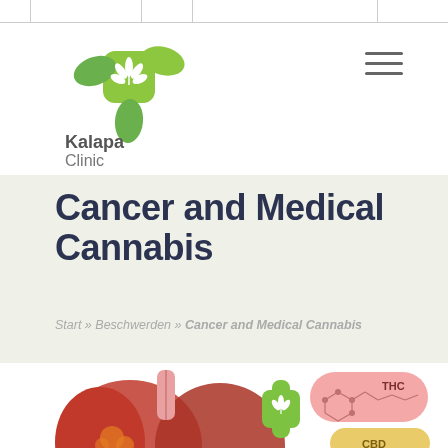[Figure (logo): Kalapa Clinic logo with green cross/leaf icon and text 'Kalapa Clinic']
Cancer and Medical Cannabis
Start » Beschwerden » Cancer and Medical Cannabis
[Figure (illustration): Medical illustration showing lungs with cancer, a green cannabis cross symbol, and molecular structure diagrams labeled THC and CBD]